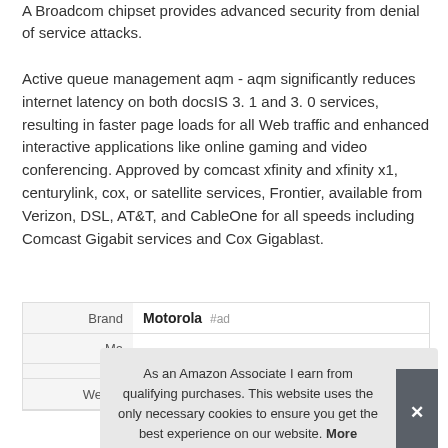A Broadcom chipset provides advanced security from denial of service attacks.
Active queue management aqm - aqm significantly reduces internet latency on both docsIS 3. 1 and 3. 0 services, resulting in faster page loads for all Web traffic and enhanced interactive applications like online gaming and video conferencing. Approved by comcast xfinity and xfinity x1, centurylink, cox, or satellite services, Frontier, available from Verizon, DSL, AT&T, and CableOne for all speeds including Comcast Gigabit services and Cox Gigablast.
|  |  |
| --- | --- |
| Brand | Motorola #ad |
| Ma… |  |
|  |  |
| Weight | 0.97 Pounds |
As an Amazon Associate I earn from qualifying purchases. This website uses the only necessary cookies to ensure you get the best experience on our website. More information